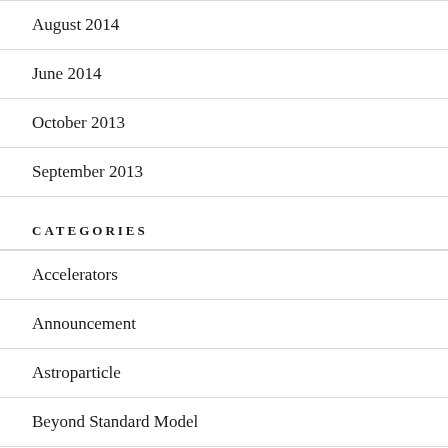August 2014
June 2014
October 2013
September 2013
CATEGORIES
Accelerators
Announcement
Astroparticle
Beyond Standard Model
cosmology